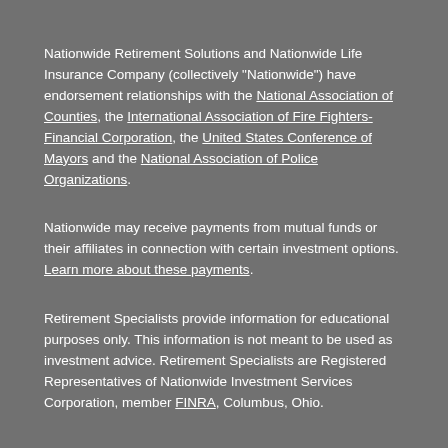Nationwide Retirement Solutions and Nationwide Life Insurance Company (collectively "Nationwide") have endorsement relationships with the National Association of Counties, the International Association of Fire Fighters-Financial Corporation, the United States Conference of Mayors and the National Association of Police Organizations.
Nationwide may receive payments from mutual funds or their affiliates in connection with certain investment options. Learn more about these payments.
Retirement Specialists provide information for educational purposes only. This information is not meant to be used as investment advice. Retirement Specialists are Registered Representatives of Nationwide Investment Services Corporation, member FINRA, Columbus, Ohio.